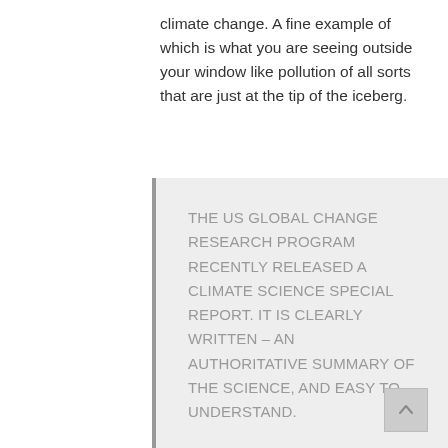climate change. A fine example of which is what you are seeing outside your window like pollution of all sorts that are just at the tip of the iceberg.
THE US GLOBAL CHANGE RESEARCH PROGRAM RECENTLY RELEASED A CLIMATE SCIENCE SPECIAL REPORT. IT IS CLEARLY WRITTEN – AN AUTHORITATIVE SUMMARY OF THE SCIENCE, AND EASY TO UNDERSTAND.

THE FIRST MAIN CHAPTER DEALS WITH CHANGES TO THE CLIMATE AND FOCUSES MUCH ATTENTION ON GLOBAL TEMPERATURES. WHEN MOST